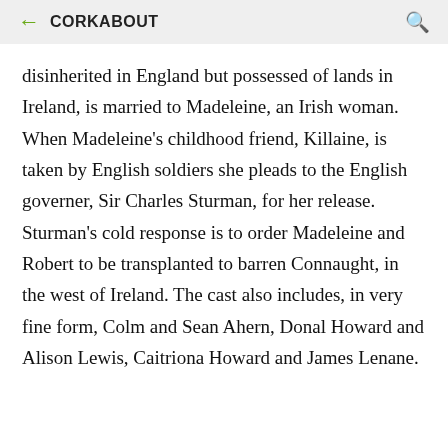CORKABOUT
disinherited in England but possessed of lands in Ireland, is married to Madeleine, an Irish woman. When Madeleine's childhood friend, Killaine, is taken by English soldiers she pleads to the English governer, Sir Charles Sturman, for her release. Sturman's cold response is to order Madeleine and Robert to be transplanted to barren Connaught, in the west of Ireland. The cast also includes, in very fine form, Colm and Sean Ahern, Donal Howard and Alison Lewis, Caitriona Howard and James Lenane.